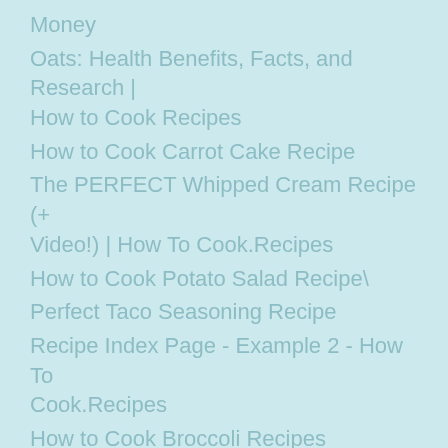Money
Oats: Health Benefits, Facts, and Research | How to Cook Recipes
How to Cook Carrot Cake Recipe
The PERFECT Whipped Cream Recipe (+ Video!) | How To Cook.Recipes
How to Cook Potato Salad Recipe\
Perfect Taco Seasoning Recipe
Recipe Index Page - Example 2 - How To Cook.Recipes
How to Cook Broccoli Recipes
Homemade Fresh Salsa Recipe (Steps with Video!) | How To Cook.Recipes
Simple Recipes for Teens | How to Cook